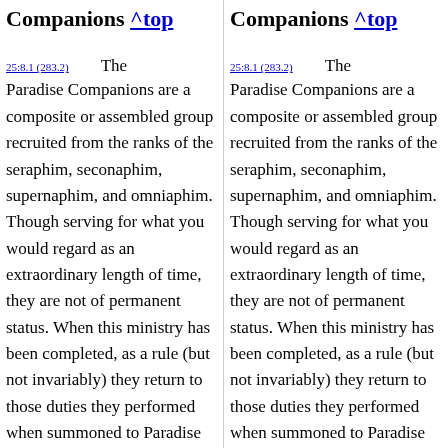Companions ^top
25:8.1 (283.2)   The Paradise Companions are a composite or assembled group recruited from the ranks of the seraphim, seconaphim, supernaphim, and omniaphim. Though serving for what you would regard as an extraordinary length of time, they are not of permanent status. When this ministry has been completed, as a rule (but not invariably) they return to those duties they performed when summoned to Paradise
Companions ^top
25:8.1 (283.2)   The Paradise Companions are a composite or assembled group recruited from the ranks of the seraphim, seconaphim, supernaphim, and omniaphim. Though serving for what you would regard as an extraordinary length of time, they are not of permanent status. When this ministry has been completed, as a rule (but not invariably) they return to those duties they performed when summoned to Paradise